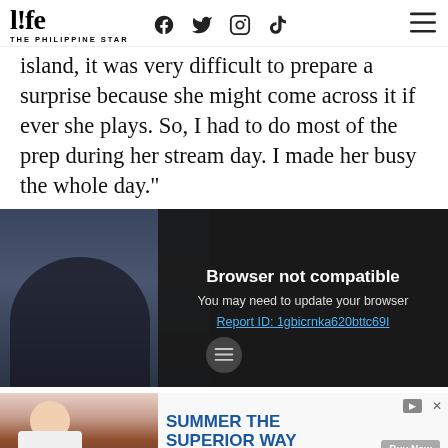life THE PHILIPPINE STAR
island, it was very difficult to prepare a surprise because she might come across it if ever she plays. So, I had to do most of the prep during her stream day. I made her busy the whole day."
[Figure (screenshot): Video player overlay showing 'Browser not compatible' error message with 'You may need to update your browser' and report ID link. Background shows a partial photo of a person. A menu icon appears at bottom center.]
[Figure (photo): Advertisement banner with left photo (person seated at table with beverages) and right side text 'SUMMER THE SUPERIOR WAY' in blue with 'Buy Now' button.]